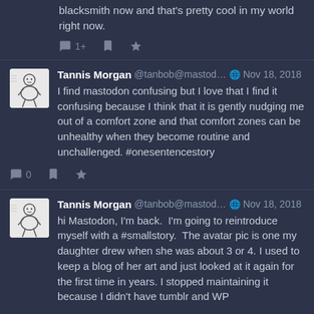blacksmith now and that's pretty cool in my world right now.
Tannis Morgan @tanbob@mastod… Nov 18, 2018 — I find mastodon confusing but I love that I find it confusing because I think that it is gently nudging me out of a comfort zone and that comfort zones can be unhealthy when they become routine and unchallenged. #onesentencestory
Tannis Morgan @tanbob@mastod… Nov 18, 2018 — hi Mastodon, I'm back. I'm going to reintroduce myself with a #smallstory. The avatar pic is one my daughter drew when she was about 3 or 4. I used to keep a blog of her art and just looked at it again for the first time in years. I stopped maintaining it because I didn't have tumblr and WP